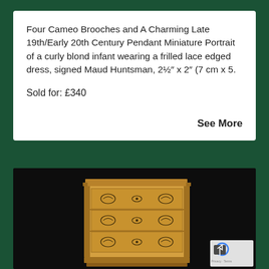Four Cameo Brooches and A Charming Late 19th/Early 20th Century Pendant Miniature Portrait of a curly blond infant wearing a frilled lace edged dress, signed Maud Huntsman, 2½″ x 2″ (7 cm x 5.
Sold for: £340
See More
[Figure (photo): Photo of an antique chest of drawers with ornate decorative handles and marquetry detailing, photographed against a dark background. A reCAPTCHA badge appears in the bottom right corner.]